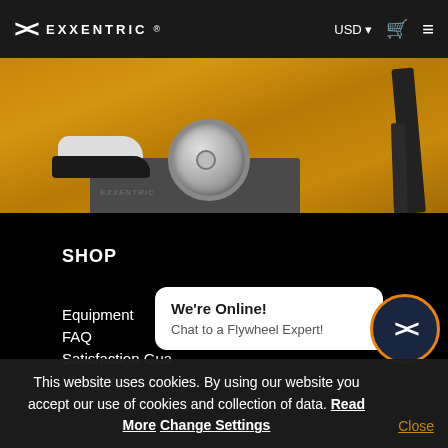EXXENTRIC ® USD Cart Menu
[Figure (photo): Photo of Exxentric flywheel training equipment on a wooden floor with a Nike shoe visible, and a dark handle/frame on the right]
SHOP
Equipment
FAQ
Satisfaction Gua...
Warranty
Shipping
We're Online!
Chat to a Flywheel Expert!
This website uses cookies. By using our website you accept our use of cookies and collection of data. Read More Change Settings
Close